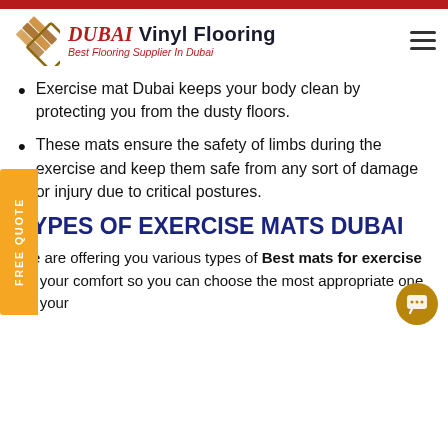DUBAI Vinyl Flooring – Best Flooring Supplier In Dubai
Exercise mat Dubai keeps your body clean by protecting you from the dusty floors.
These mats ensure the safety of limbs during the exercise and keep them safe from any sort of damage or injury due to critical postures.
TYPES OF EXERCISE MATS DUBAI
We are offering you various types of Best mats for exercise for your comfort so you can choose the most appropriate one for your